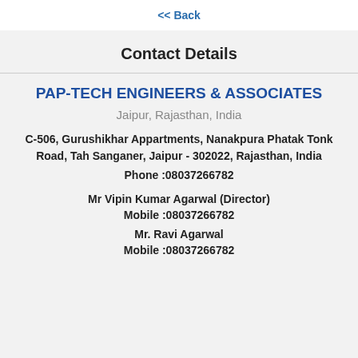<< Back
Contact Details
PAP-TECH ENGINEERS & ASSOCIATES
Jaipur, Rajasthan, India
C-506, Gurushikhar Appartments, Nanakpura Phatak Tonk Road, Tah Sanganer, Jaipur - 302022, Rajasthan, India
Phone :08037266782
Mr Vipin Kumar Agarwal (Director)
Mobile :08037266782
Mr. Ravi Agarwal
Mobile :08037266782